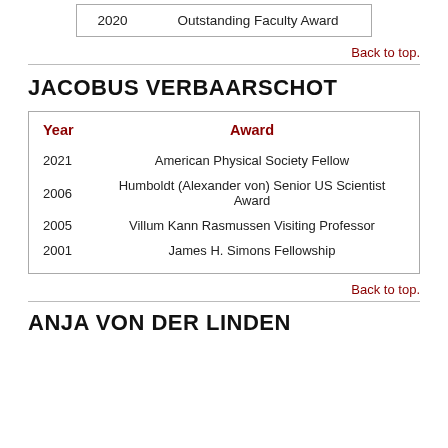| Year | Award |
| --- | --- |
| 2020 | Outstanding Faculty Award |
Back to top.
JACOBUS VERBAARSCHOT
| Year | Award |
| --- | --- |
| 2021 | American Physical Society Fellow |
| 2006 | Humboldt (Alexander von) Senior US Scientist Award |
| 2005 | Villum Kann Rasmussen Visiting Professor |
| 2001 | James H. Simons Fellowship |
Back to top.
ANJA VON DER LINDEN